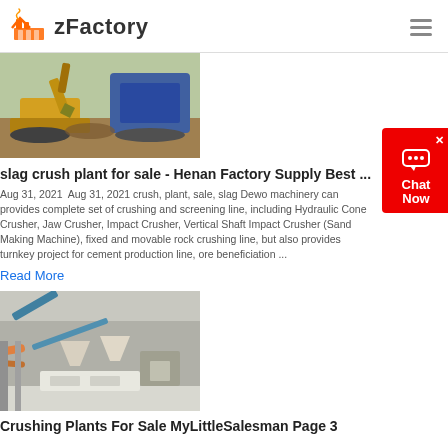zFactory
[Figure (photo): Excavator and crusher machinery at a slag crushing plant site, outdoor setting with dirt and construction equipment]
slag crush plant for sale - Henan Factory Supply Best ...
Aug 31, 2021  Aug 31, 2021 crush, plant, sale, slag Dewo machinery can provides complete set of crushing and screening line, including Hydraulic Cone Crusher, Jaw Crusher, Impact Crusher, Vertical Shaft Impact Crusher (Sand Making Machine), fixed and movable rock crushing line, but also provides turnkey project for cement production line, ore beneficiation ...
Read More
[Figure (photo): Industrial crushing plant equipment with conveyors, hoppers and machinery in an indoor/outdoor facility]
Crushing Plants For Sale MyLittleSalesman Page 3